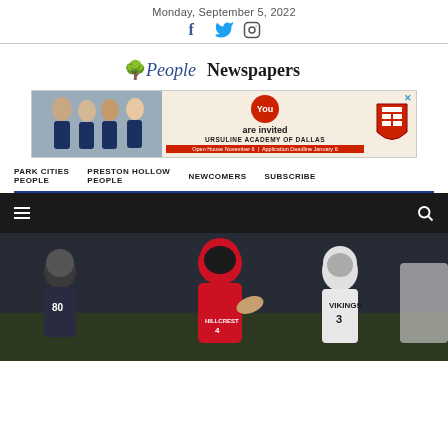Monday, September 5, 2022
[Figure (logo): People Newspapers logo with tree icon]
[Figure (photo): Advertisement banner for Ursuline Academy of Dallas - You are invited, Open House November 6, Application Deadline January 6]
PARK CITIES PEOPLE | PRESTON HOLLOW PEOPLE | NEWCOMERS | SUBSCRIBE
[Figure (photo): Football game photo showing Hillcrest player in red/black uniform running with ball, being pursued by Vikings player #3 in white uniform]